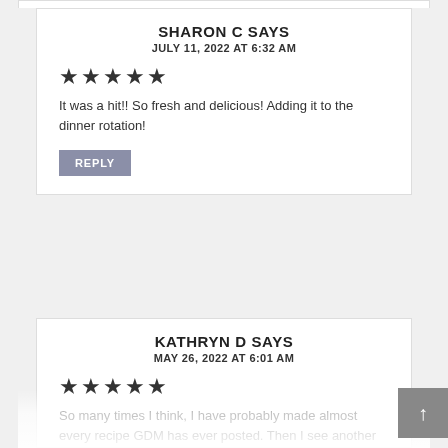SHARON C SAYS
JULY 11, 2022 AT 6:32 AM
★★★★★
It was a hit!! So fresh and delicious! Adding it to the dinner rotation!
REPLY
KATHRYN D SAYS
MAY 26, 2022 AT 6:01 AM
★★★★★
So many times I think, I have probably made almost every recipe GDM has ever posted. Then I see another one that I have never seen before. This was incredible